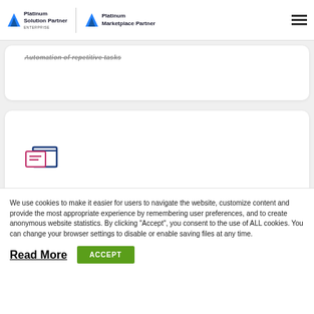Platinum Solution Partner ENTERPRISE | Platinum Marketplace Partner
[Figure (screenshot): Partial view of a card with text 'Automation of repetitive tasks' partially visible at top]
[Figure (screenshot): Partial view of a second card with a document/folder icon visible at bottom]
We use cookies to make it easier for users to navigate the website, customize content and provide the most appropriate experience by remembering user preferences, and to create anonymous website statistics. By clicking "Accept", you consent to the use of ALL cookies. You can change your browser settings to disable or enable saving files at any time.
Read More
ACCEPT